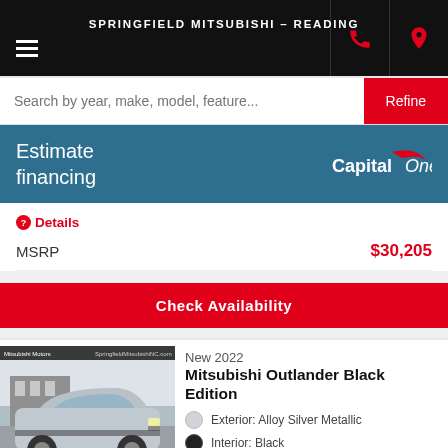SPRINGFIELD MITSUBISHI - READING
Search by year, make, model, feature...
Refine
[Figure (infographic): Estimate financing banner with Capital One logo]
Details
|  |  |
| --- | --- |
| MSRP | $30,205 |
Check Availability
New 2022
Mitsubishi Outlander Black Edition
Exterior: Alloy Silver Metallic
Interior: Black
[Figure (photo): Photo of a silver 2022 Mitsubishi Outlander Black Edition SUV parked outside a Mitsubishi dealership with a dark canopy. Text overlay: Mitsubishi Motors and SpringfieldMitsubishiNC.com]